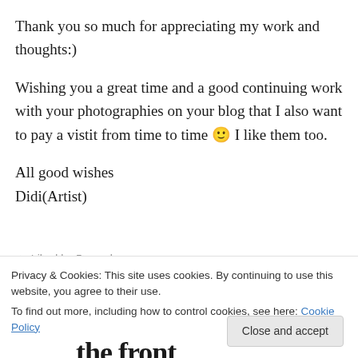Thank you so much for appreciating my work and thoughts:)

Wishing you a great time and a good continuing work with your photographies on your blog that I also want to pay a vistit from time to time 🙂 I like them too.

All good wishes
Didi(Artist)
Liked by 5 people
Privacy & Cookies: This site uses cookies. By continuing to use this website, you agree to their use.
To find out more, including how to control cookies, see here: Cookie Policy
Close and accept
the front